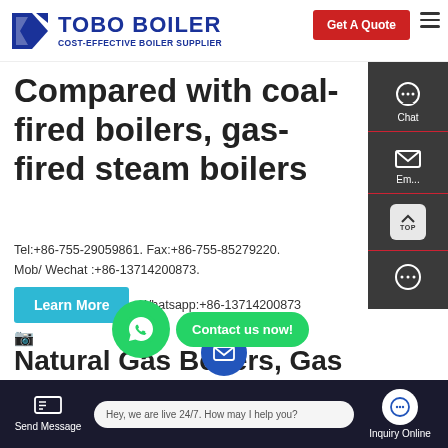[Figure (logo): TOBO BOILER logo with blue text and tagline 'COST-EFFECTIVE BOILER SUPPLIER', red 'Get A Quote' button, and hamburger menu icon]
Compared with coal-fired boilers, gas-fired steam boilers
Tel:+86-755-29059861. Fax:+86-755-85279220. Mob/ Wechat :+86-13714200873.
Whatsapp:+86-13714200873
Learn More
[Figure (screenshot): Right sidebar panel with dark background containing Chat icon, Email icon, scroll-to-top button, and more options button]
[Figure (illustration): Broken image placeholder]
Natural Gas Boilers, Gas Fired Steam Boilers, Direct Manufacturer
[Figure (infographic): WhatsApp floating button (green circle) with 'Contact us now!' green speech bubble overlay]
Send Message   Hey, we are live 24/7. How may I help you?   Inquiry Online